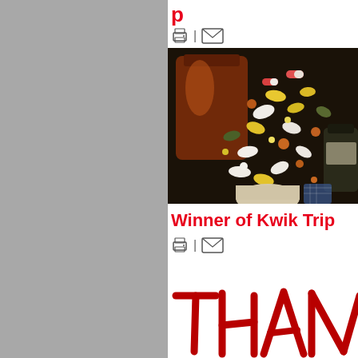[Figure (other): Left panel showing gray/silver background, partial page view]
...p (partial red bold title text cut off at right edge)
[Figure (other): Icons: printer icon, separator bar, email/envelope icon]
[Figure (photo): Photo of pill bottles tipped over with many colorful pills and capsules spilled out]
Winner of Kwik Trip (partially visible, cut off)
[Figure (other): Icons: printer icon, separator bar, email/envelope icon]
[Figure (other): Large handwritten-style red text reading THAN (cut off), part of THANK or THANKS]